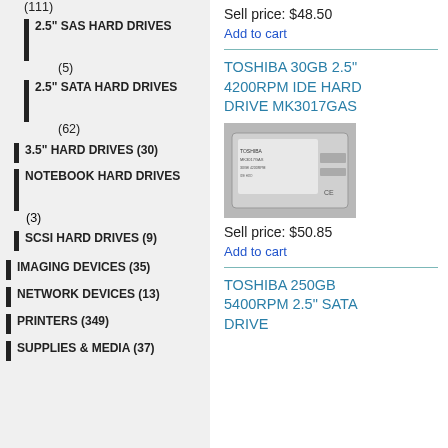(111)
2.5" SAS HARD DRIVES (5)
2.5" SATA HARD DRIVES (62)
3.5" HARD DRIVES (30)
NOTEBOOK HARD DRIVES (3)
SCSI HARD DRIVES (9)
IMAGING DEVICES (35)
NETWORK DEVICES (13)
PRINTERS (349)
SUPPLIES & MEDIA (37)
Sell price: $48.50
Add to cart
TOSHIBA 30GB 2.5" 4200RPM IDE HARD DRIVE MK3017GAS
[Figure (photo): Photo of a Toshiba 30GB 2.5-inch hard drive]
Sell price: $50.85
Add to cart
TOSHIBA 250GB 5400RPM 2.5" SATA DRIVE